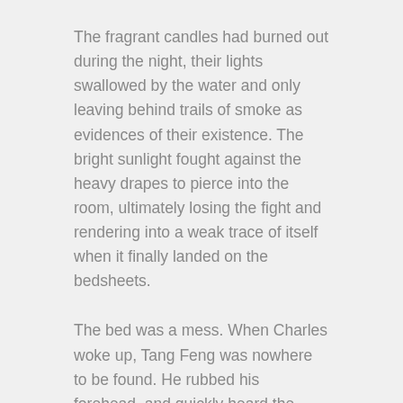The fragrant candles had burned out during the night, their lights swallowed by the water and only leaving behind trails of smoke as evidences of their existence. The bright sunlight fought against the heavy drapes to pierce into the room, ultimately losing the fight and rendering into a weak trace of itself when it finally landed on the bedsheets.
The bed was a mess. When Charles woke up, Tang Feng was nowhere to be found. He rubbed his forehead, and quickly heard the sounds of running water coming from the bathroom.
Charles picked up the phone and ordered some takeout. After the intensive workout from last night, both of them needed to eat